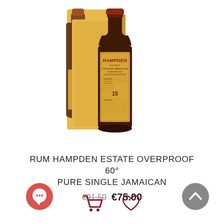[Figure (photo): Product photo of Hampden Estate Overproof 60° Pure Single Jamaican Rum bottle with a yellow box, two bottles visible side by side]
RUM HAMPDEN ESTATE OVERPROOF 60° PURE SINGLE JAMAICAN
€91.50  €75.00